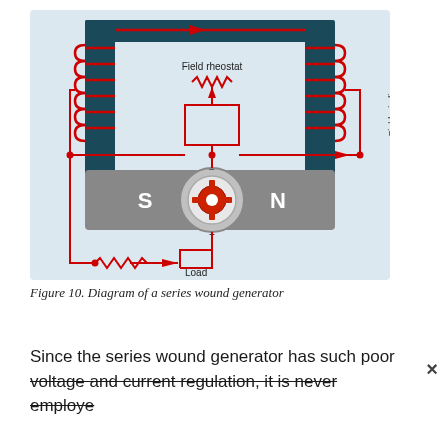[Figure (engineering-diagram): Diagram of a series wound DC generator showing field windings on left and right poles (S and N), armature in center, field rheostat at top, and load at bottom, with red circuit lines showing current path.]
Figure 10. Diagram of a series wound generator
Since the series wound generator has such poor voltage and current regulation, it is never employe...